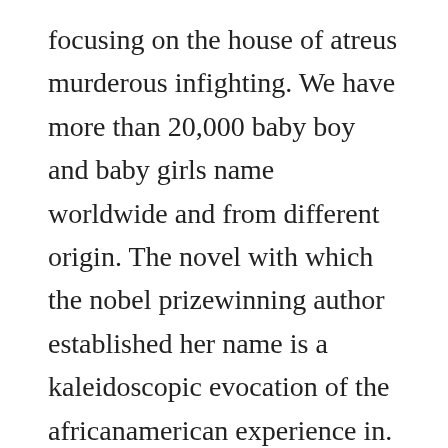focusing on the house of atreus murderous infighting. We have more than 20,000 baby boy and baby girls name worldwide and from different origin. The novel with which the nobel prizewinning author established her name is a kaleidoscopic evocation of the africanamerican experience in. Personalize my name is not isabella and take your child on a journey through time to learn about some of the amazing women who changed history. Create good names for games, profiles, brands or social networks. Shemot, the hebrew title of the book of exodus, means names.